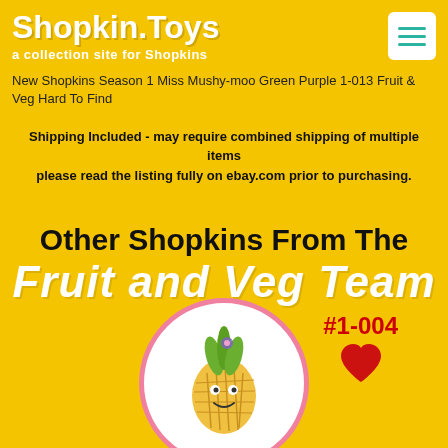Shopkin.Toys — a collection site for Shopkins
New Shopkins Season 1 Miss Mushy-moo Green Purple 1-013 Fruit & Veg Hard To Find
Shipping Included - may require combined shipping of multiple items please read the listing fully on ebay.com prior to purchasing.
Other Shopkins From The Fruit and Veg Team
[Figure (illustration): Shopkins character pineapple/fruit figure inside a pink-bordered white circle, with #1-004 label and heart icon to the right]